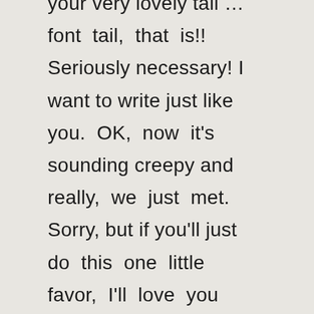your very lovely tail … font tail, that is!! Seriously necessary! I want to write just like you. OK, now it's sounding creepy and really, we just met. Sorry, but if you'll just do this one little favor, I'll love you forever ☺